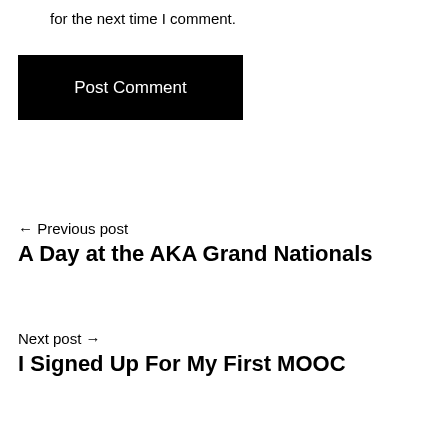for the next time I comment.
Post Comment
← Previous post
A Day at the AKA Grand Nationals
Next post →
I Signed Up For My First MOOC